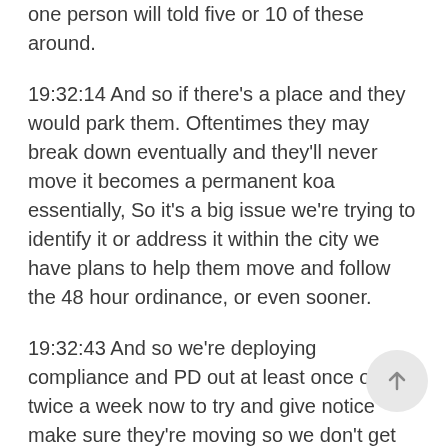one person will told five or 10 of these around.
19:32:14 And so if there's a place and they would park them. Oftentimes they may break down eventually and they'll never move it becomes a permanent koa essentially, So it's a big issue we're trying to identify it or address it within the city we have plans to help them move and follow the 48 hour ordinance, or even sooner.
19:32:43 And so we're deploying compliance and PD out at least once or twice a week now to try and give notice make sure they're moving so we don't get folks camping for a week